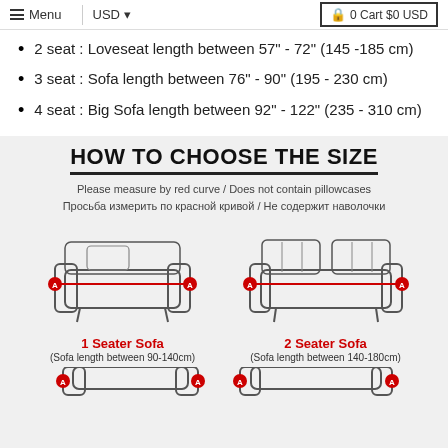Menu | USD | 0 Cart $0 USD
2 seat : Loveseat length between 57" - 72" (145 -185 cm)
3 seat : Sofa length between 76" - 90" (195 - 230 cm)
4 seat : Big Sofa length between 92" - 122" (235 - 310 cm)
HOW TO CHOOSE THE SIZE
Please measure by red curve / Does not contain pillowcases
Просьба измерить по красной кривой  /  Не содержит наволочки
[Figure (illustration): Diagram of 1 Seater Sofa with red measurement line labeled A to A, with caption '1 Seater Sofa (Sofa length between 90-140cm)']
[Figure (illustration): Diagram of 2 Seater Sofa with red measurement line labeled A to A, with caption '2 Seater Sofa (Sofa length between 140-180cm)']
[Figure (illustration): Partial bottom row showing additional sofa diagrams, cut off at page edge]